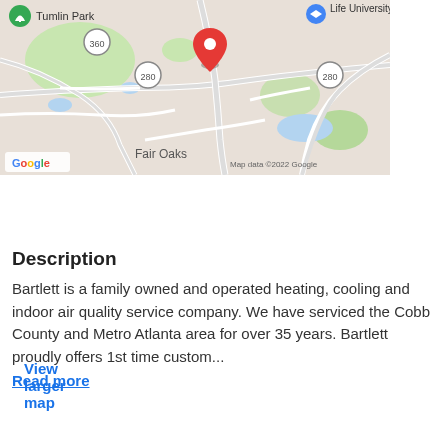[Figure (map): Google Maps screenshot showing area around Fair Oaks, GA with a red location pin marker. Shows Tumlin Park with route 360, Life University, route 280, and Fair Oaks labels. Google logo and 'Map data ©2022 Google' attribution visible.]
View larger map
Description
Bartlett is a family owned and operated heating, cooling and indoor air quality service company. We have serviced the Cobb County and Metro Atlanta area for over 35 years. Bartlett proudly offers 1st time custom...
Read more